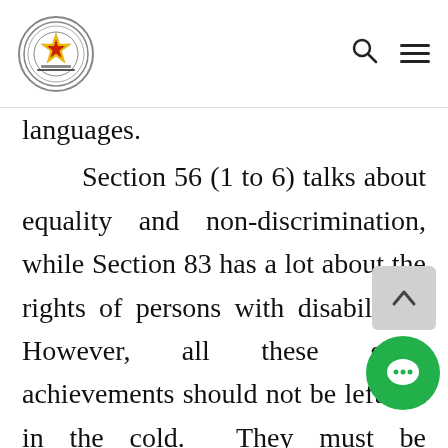Parliament of Zimbabwe
languages.
Section 56 (1 to 6) talks about equality and non-discrimination, while Section 83 has a lot about the rights of persons with disabilities. However, all these great achievements should not be left out in the cold. They must be supported, improved on and implemented accordingly. Thus the purpose of this motion is to advocate for the establishment of a Parliamentary Caucus on persons with